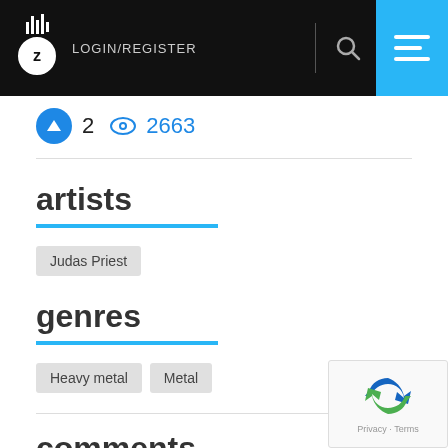LOGIN/REGISTER
2  2663
artists
Judas Priest
genres
Heavy metal
Metal
comments